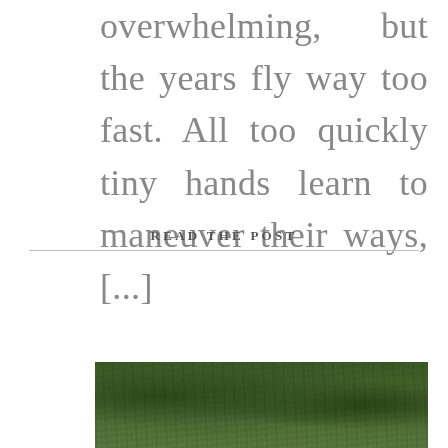overwhelming, but the years fly way too fast. All too quickly tiny hands learn to maneuver their ways, [...]
READ THE POST
[Figure (photo): Photograph of trees with lush green foliage, viewed from below or at a slight upward angle, showing dense canopy.]